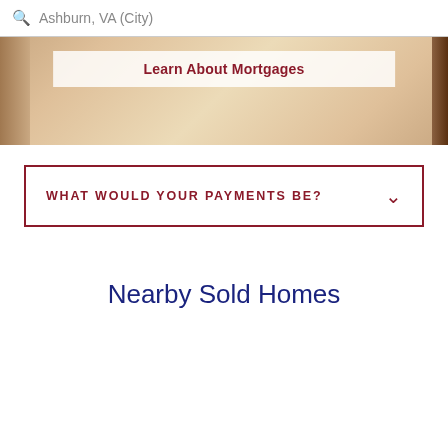Ashburn, VA (City)
[Figure (photo): Blurred background photo of hands working with documents and a calculator, with a semi-transparent white overlay containing the text Learn About Mortgages]
Learn About Mortgages
WHAT WOULD YOUR PAYMENTS BE?
Nearby Sold Homes